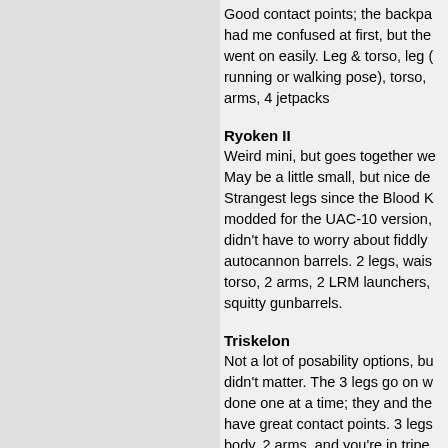Good contact points; the backpa had me confused at first, but the went on easily. Leg & torso, leg ( running or walking pose), torso, arms, 4 jetpacks
Ryoken II
Weird mini, but goes together we May be a little small, but nice de Strangest legs since the Blood K modded for the UAC-10 version, didn't have to worry about fiddly autocannon barrels. 2 legs, wais torso, 2 arms, 2 LRM launchers, squitty gunbarrels.
Triskelon
Not a lot of posability options, bu didn't matter. The 3 legs go on w done one at a time; they and the have great contact points. 3 legs body, 2 arms, and you're in tripe motion! Could have used a little